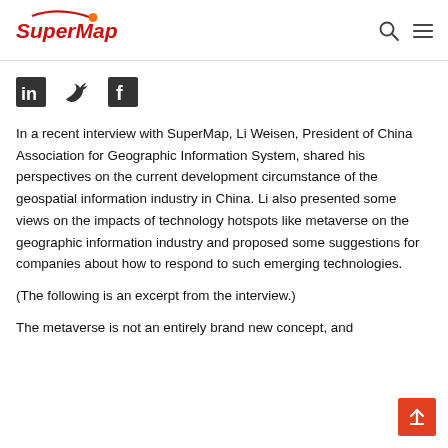SuperMap
[Figure (logo): SuperMap logo with orange dot and red text]
[Figure (infographic): LinkedIn, Twitter, and Facebook social media icons]
In a recent interview with SuperMap, Li Weisen, President of China Association for Geographic Information System, shared his perspectives on the current development circumstance of the geospatial information industry in China. Li also presented some views on the impacts of technology hotspots like metaverse on the geographic information industry and proposed some suggestions for companies about how to respond to such emerging technologies.
(The following is an excerpt from the interview.)
The metaverse is not an entirely brand new concept, and